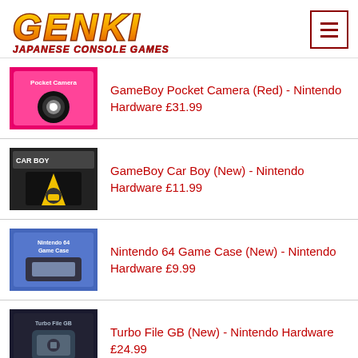[Figure (logo): GENKI Japanese Console Games logo with colorful stylized text]
GameBoy Pocket Camera (Red) - Nintendo Hardware £31.99
GameBoy Car Boy (New) - Nintendo Hardware £11.99
Nintendo 64 Game Case (New) - Nintendo Hardware £9.99
Turbo File GB (New) - Nintendo Hardware £24.99